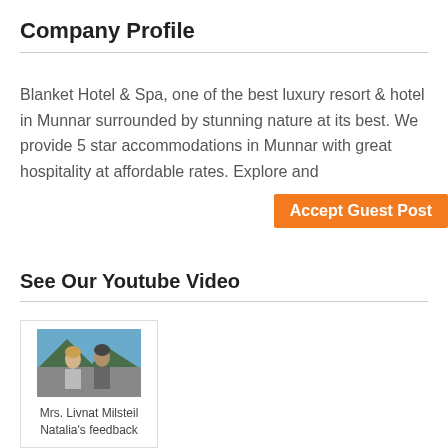Company Profile
Blanket Hotel & Spa, one of the best luxury resort & hotel in Munnar surrounded by stunning nature at its best. We provide 5 star accommodations in Munnar with great hospitality at affordable rates. Explore and
[Figure (other): Orange button/badge overlay reading 'Accept Guest Post']
See Our Youtube Video
[Figure (photo): Video thumbnail showing two people outdoors with mountain scenery, captioned 'Mrs. Livnat Milsteil Natalia's feedback']
Mrs. Livnat Milsteil Natalia's feedback